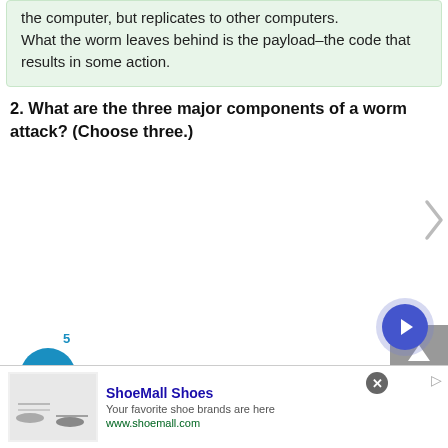What the worm leaves behind is the payload–the code that results in some action.
2. What are the three major components of a worm attack? (Choose three.)
[Figure (other): Right chevron navigation arrow]
5
[Figure (other): Chat/message bubble button icon (blue circle)]
[Figure (other): Scroll to top button (grey square with up arrow)]
[Figure (other): Advertisement: ShoeMall Shoes — Your favorite shoe brands are here — www.shoemall.com]
[Figure (other): Navigation forward button (blue circle with right chevron, purple glow)]